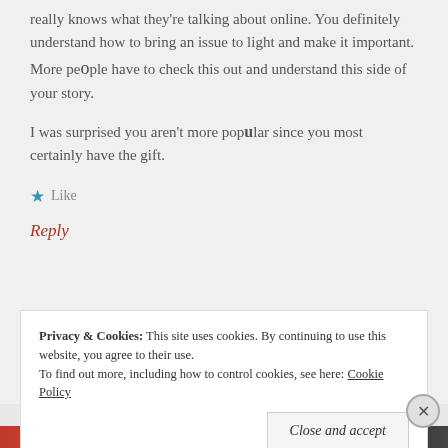really knows what they're talking about online. You definitely understand how to bring an issue to light and make it important. More people have to check this out and understand this side of your story.
I was surprised you aren't more popular since you most certainly have the gift.
★ Like
Reply
Privacy & Cookies:  This site uses cookies. By continuing to use this website, you agree to their use.
To find out more, including how to control cookies, see here: Cookie Policy
Close and accept
Advertisements